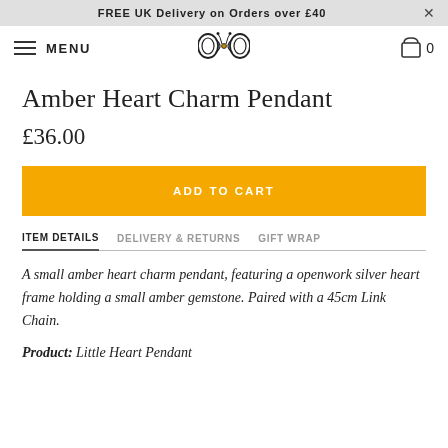FREE UK Delivery on Orders over £40
[Figure (logo): Butterfly/bow logo for BW brand in navbar]
Amber Heart Charm Pendant
£36.00
ADD TO CART
ITEM DETAILS | DELIVERY & RETURNS | GIFT WRAP
A small amber heart charm pendant, featuring a openwork silver heart frame holding a small amber gemstone. Paired with a 45cm Link Chain.
Product: Little Heart Pendant